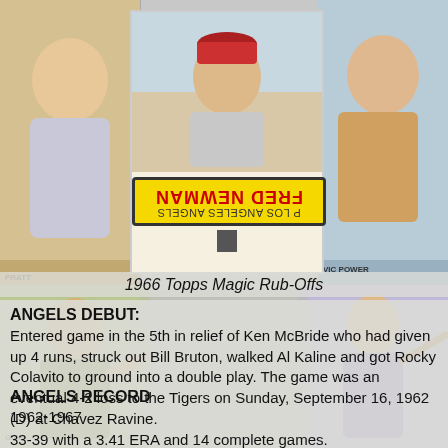[Figure (photo): Collage of vintage baseball cards as background, with a central 1966 Topps Magic Rub-Offs card for Fred Newman of the Los Angeles Angels (text mirrored/reversed on card), flanked by partial cards including Vic Power on the right and other players.]
1966 Topps Magic Rub-Offs
ANGELS DEBUT:
Entered game in the 5th in relief of Ken McBride who had given up 4 runs, struck out Bill Bruton, walked Al Kaline and got Rocky Colavito to ground into a double play. The game was an eventual 4-2 loss to the Tigers on Sunday, September 16, 1962 (D) at Chavez Ravine.
ANGELS RECORD
1962-1967
33-39 with a 3.41 ERA and 14 complete games.